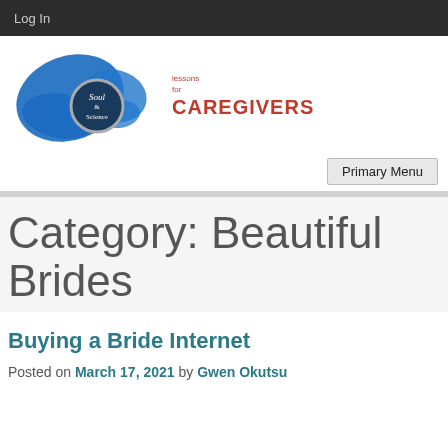Log In
[Figure (logo): Soul & Science butterfly logo with 'lessons for CAREGIVERS' text]
Primary Menu
Category: Beautiful Brides
Buying a Bride Internet
Posted on March 17, 2021 by Gwen Okutsu